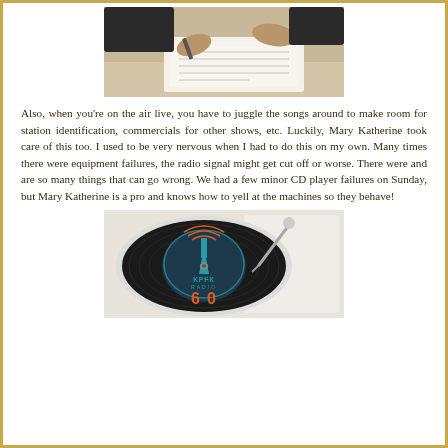[Figure (photo): Hands signing or filling out paperwork on a desk, person writing with a pen on documents]
Also, when you're on the air live, you have to juggle the songs around to make room for station identification, commercials for other shows, etc. Luckily, Mary Katherine took care of this too. I used to be very nervous when I had to do this on my own. Many times there were equipment failures, the radio signal might get cut off or worse. There were and are so many things that can go wrong. We had a few minor CD player failures on Sunday, but Mary Katherine is a pro and knows how to yell at the machines so they behave!
[Figure (photo): KPFK Radio 60 logo on a vinyl turntable/record player, teal and orange logo design]